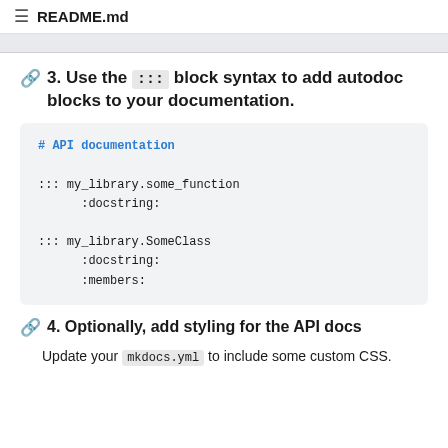README.md
3. Use the ::: block syntax to add autodoc blocks to your documentation.
[Figure (screenshot): Code block showing Markdown autodoc syntax with # API documentation comment, ::: my_library.some_function with :docstring: option, and ::: my_library.SomeClass with :docstring: and :members: options]
4. Optionally, add styling for the API docs
Update your mkdocs.yml to include some custom CSS.